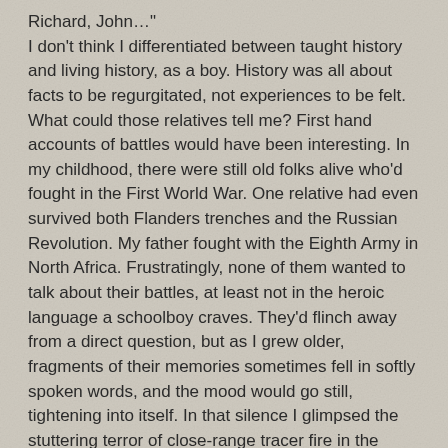Richard, John…"
I don't think I differentiated between taught history and living history, as a boy. History was all about facts to be regurgitated, not experiences to be felt. What could those relatives tell me? First hand accounts of battles would have been interesting. In my childhood, there were still old folks alive who'd fought in the First World War. One relative had even survived both Flanders trenches and the Russian Revolution. My father fought with the Eighth Army in North Africa. Frustratingly, none of them wanted to talk about their battles, at least not in the heroic language a schoolboy craves. They'd flinch away from a direct question, but as I grew older, fragments of their memories sometimes fell in softly spoken words, and the mood would go still, tightening into itself. In that silence I glimpsed the stuttering terror of close-range tracer fire in the night, or felt the anguish of a survivor of atrocity. But by the time I was mature enough to listen, many of the stories would never be told again. I think those fragments roused my interest not in 'what happened', but in what it felt like to be there while it